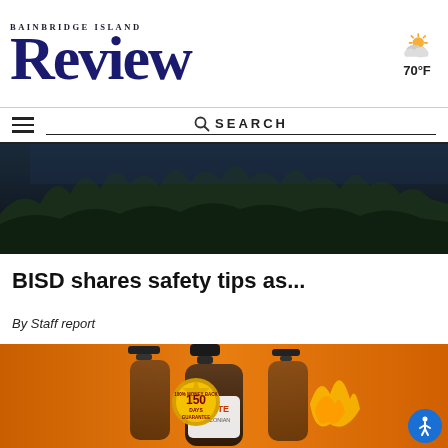Bainbridge Island Review
[Figure (other): Weather icon showing partly cloudy sun with temperature 70°F]
[Figure (other): Navigation bar with hamburger menu and search bar]
[Figure (photo): Dark aerial or landscape photo showing dense forest/treeline at night or dusk]
BISD shares safety tips as...
By Staff report
[Figure (photo): Advertisement for Ignite Amazonian product - amber dropper bottles on orange background with 150 Days 100% Money Back Guarantee seal]